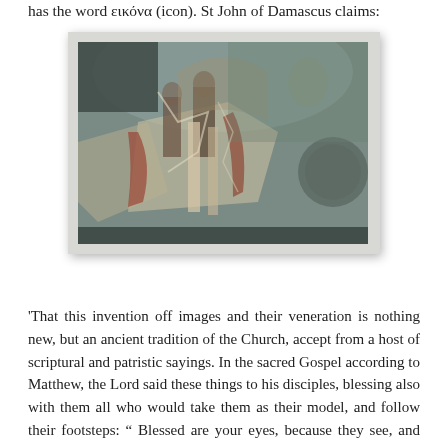has the word εικόνα (icon). St John of Damascus claims:
[Figure (photo): A weathered ancient fresco or wall painting in a church or cave, showing religious figures in Byzantine style. The painting is heavily deteriorated with faded colors of green, red, brown, and white against a stone wall.]
'That this invention off images and their veneration is nothing new, but an ancient tradition of the Church, accept from a host of scriptural and patristic sayings. In the sacred Gospel according to Matthew, the Lord said these things to his disciples, blessing also with them all who would take them as their model, and follow their footsteps: " Blessed are your eyes, because they see, and your ears, because they